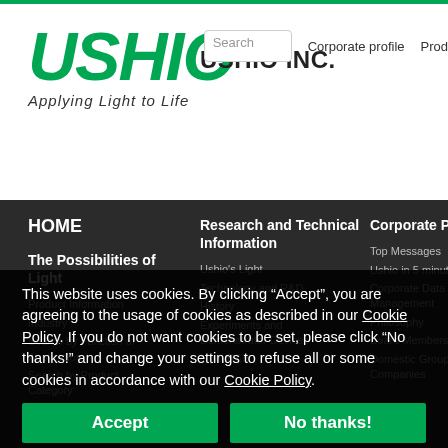[Figure (logo): Ushio Inc. corporate logo with green USHIO text, tagline 'Applying Light to Life', and company name 'USHIO INC.']
Corporate profile  Prod  Search
HOME
Research and Technical Information
Corporate Profile
The Possibilities of Light
Ushio's Light
Top Messages
Technology and R&D
Ushio in 5 minutes
Product Information
History
Industry
Corporate Data / Management
Search by Function or Application
Experiments and Demonstrator Devices
Philosophy
Board Members
Search by Product Category
Light R&B
Domestic Group Companies
Search by
After-sales support
This website uses cookies. By clicking “Accept”, you are agreeing to the usage of cookies as described in our Cookie Policy. If you do not want cookies to be set, please click “No thanks!” and change your settings to refuse all or some cookies in accordance with our Cookie Policy.
Accept
No thanks!